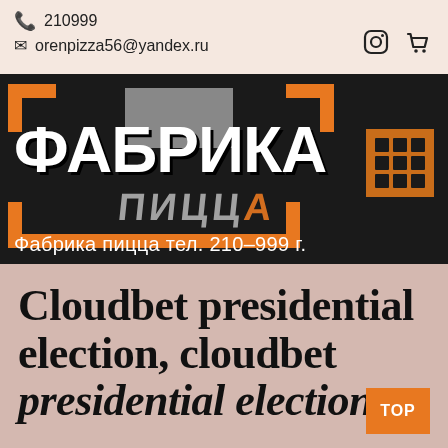210999
orenpizza56@yandex.ru
[Figure (logo): Фабрика пицца logo on dark background with orange geometric decorations and grid icon. Text below: Фабрика пицца тел. 210-999 г.]
Cloudbet presidential election, cloudbet presidential election